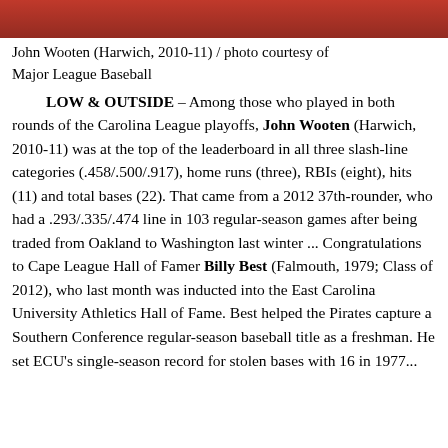[Figure (photo): Red banner/photo area at top of page]
John Wooten (Harwich, 2010-11) / photo courtesy of Major League Baseball
LOW & OUTSIDE – Among those who played in both rounds of the Carolina League playoffs, John Wooten (Harwich, 2010-11) was at the top of the leaderboard in all three slash-line categories (.458/.500/.917), home runs (three), RBIs (eight), hits (11) and total bases (22). That came from a 2012 37th-rounder, who had a .293/.335/.474 line in 103 regular-season games after being traded from Oakland to Washington last winter ... Congratulations to Cape League Hall of Famer Billy Best (Falmouth, 1979; Class of 2012), who last month was inducted into the East Carolina University Athletics Hall of Fame. Best helped the Pirates capture a Southern Conference regular-season baseball title as a freshman. He set ECU's single-season record for stolen bases with 16 in 1977...